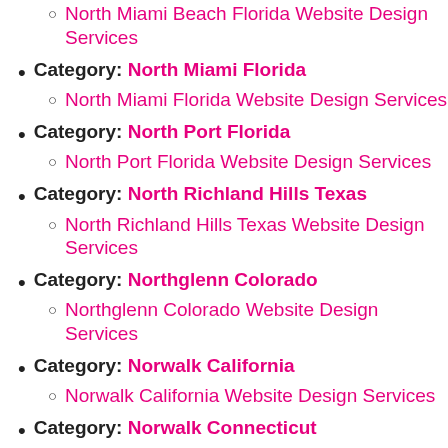Category: North Miami Beach Florida
North Miami Beach Florida Website Design Services
Category: North Miami Florida
North Miami Florida Website Design Services
Category: North Port Florida
North Port Florida Website Design Services
Category: North Richland Hills Texas
North Richland Hills Texas Website Design Services
Category: Northglenn Colorado
Northglenn Colorado Website Design Services
Category: Norwalk California
Norwalk California Website Design Services
Category: Norwalk Connecticut
Norwalk Connecticut Website Design Services